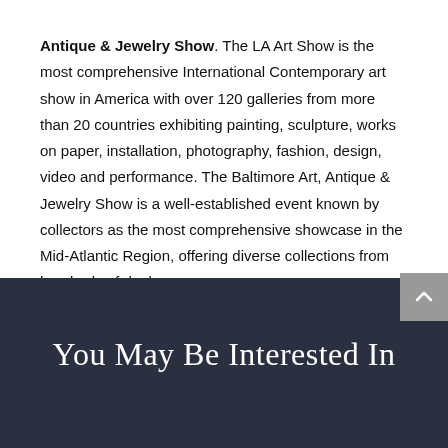Antique & Jewelry Show. The LA Art Show is the most comprehensive International Contemporary art show in America with over 120 galleries from more than 20 countries exhibiting painting, sculpture, works on paper, installation, photography, fashion, design, video and performance. The Baltimore Art, Antique & Jewelry Show is a well-established event known by collectors as the most comprehensive showcase in the Mid-Atlantic Region, offering diverse collections from hundreds of dealers.
You May Be Interested In